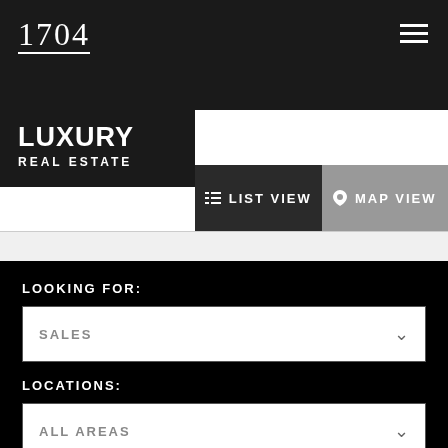1704
[Figure (logo): 1704 Luxury Real Estate logo with hamburger menu icon]
LIST VIEW
MAP VIEW
LOOKING FOR:
SALES
LOCATIONS:
ALL AREAS
MIN PRICE: